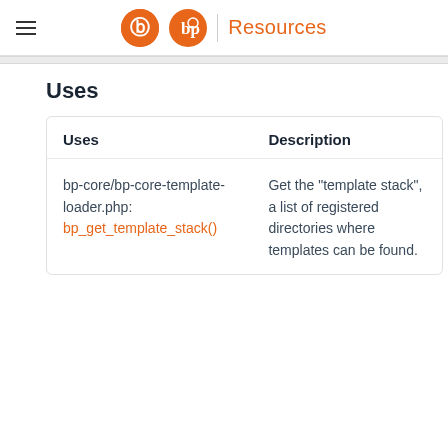Resources
Uses
| Uses | Description |
| --- | --- |
| bp-core/bp-core-template-loader.php: bp_get_template_stack() | Get the "template stack", a list of registered directories where templates can be found. |